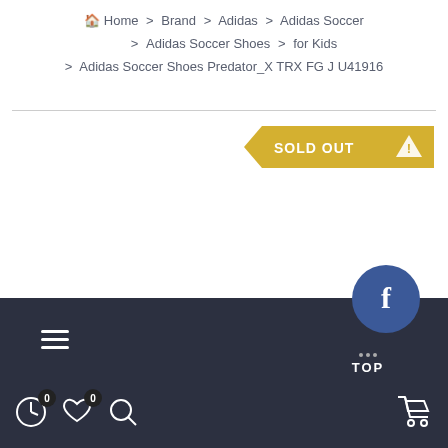Home > Brand > Adidas > Adidas Soccer > Adidas Soccer Shoes > for Kids > Adidas Soccer Shoes Predator_X TRX FG J U41916
SOLD OUT
Menu | TOP | Cart | Wishlist | Search | History